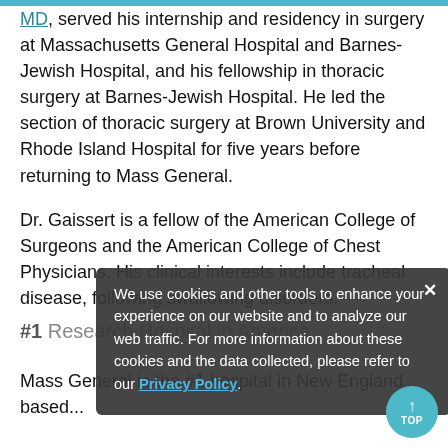MD, served his internship and residency in surgery at Massachusetts General Hospital and Barnes-Jewish Hospital, and his fellowship in thoracic surgery at Barnes-Jewish Hospital. He led the section of thoracic surgery at Brown University and Rhode Island Hospital for five years before returning to Mass General.
Dr. Gaissert is a fellow of the American College of Surgeons and the American College of Chest Physicians. His clinical interests include tracheal disease, following swallowing disorders.
[Figure (screenshot): Cookie consent overlay popup with dark semi-transparent background. Text: 'We use cookies and other tools to enhance your experience on our website and to analyze our web traffic. For more information about these cookies and the data collected, please refer to our Privacy Policy.' with close X button and Privacy Policy link.]
#1 Research Hospital in America
Mass General is the #1 hospital in New England based...